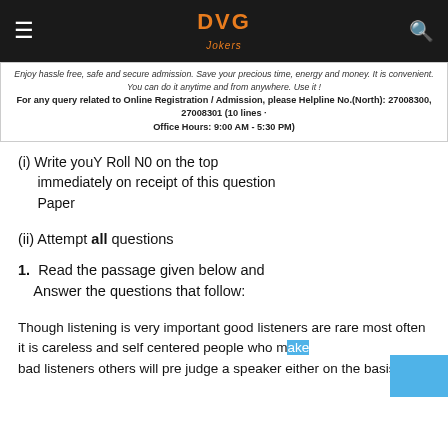DVG Jokers
Enjoy hassle free, safe and secure admission. Save your precious time, energy and money. It is convenient. You can do it anytime and from anywhere. Use it ! For any query related to Online Registration / Admission, please Helpline No.(North): 27008300, 27008301 (10 lines · Office Hours: 9:00 AM - 5:30 PM)
(i) Write youY Roll N0 on the top immediately on receipt of this question Paper
(ii) Attempt all questions
1.  Read the passage given below and Answer the questions that follow:
Though listening is very important good listeners are rare most often it is careless and self centered people who make bad listeners others will pre judge a speaker either on the basis of his looks...